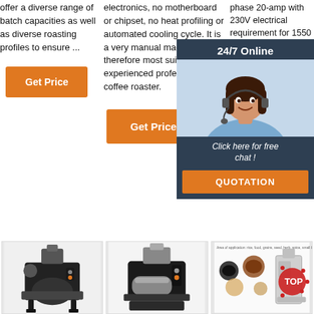offer a diverse range of batch capacities as well as diverse roasting profiles to ensure ...
electronics, no motherboard or chipset, no heat profiling or automated cooling cycle. It is a very manual machine and therefore most suitable for an experienced professional coffee roaster.
phase 20-amp with 230V electrical requirement for 1550 CFM Exhaust Roaster Draw: ...
[Figure (infographic): 24/7 Online chat widget with female agent wearing headset, 'Click here for free chat!' text and QUOTATION button]
Get Price
Get Price
Get
[Figure (photo): Small black coffee roaster machine]
[Figure (photo): Small black coffee roaster machine, slightly different model]
[Figure (infographic): Product application infographic showing various spices, grains, seeds with 'TOP' badge text]